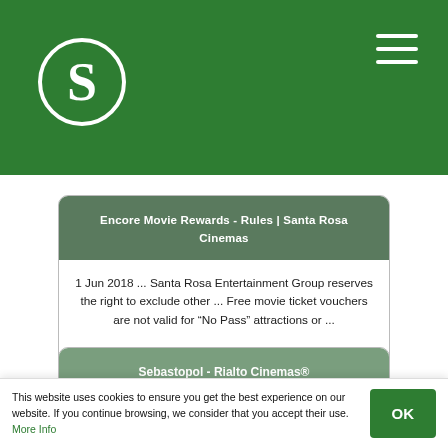[Figure (logo): Green header bar with white S logo circle and hamburger menu icon]
Encore Movie Rewards - Rules | Santa Rosa Cinemas
1 Jun 2018 ... Santa Rosa Entertainment Group reserves the right to exclude other ... Free movie ticket vouchers are not valid for “No Pass” attractions or ...
OPEN ONLINE
Sebastopol - Rialto Cinemas®
He was that rare if not unique thing, a scientific navigator
This website uses cookies to ensure you get the best experience on our website. If you continue browsing, we consider that you accept their use. More Info